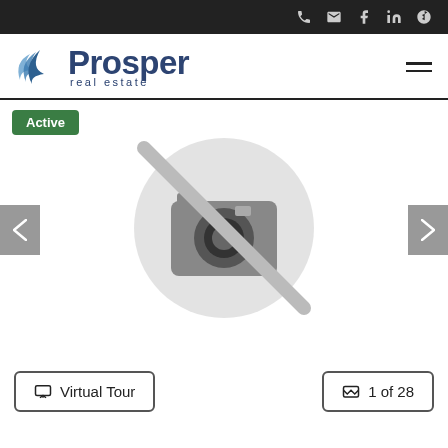Top navigation bar with phone, email, Facebook, LinkedIn, Yelp icons
[Figure (logo): Prosper Real Estate logo with stylized wave/wing mark in blue and company name]
Active
[Figure (photo): No photo available placeholder — camera icon with a diagonal slash inside a circle]
< (left navigation arrow)
> (right navigation arrow)
Virtual Tour
1 of 28